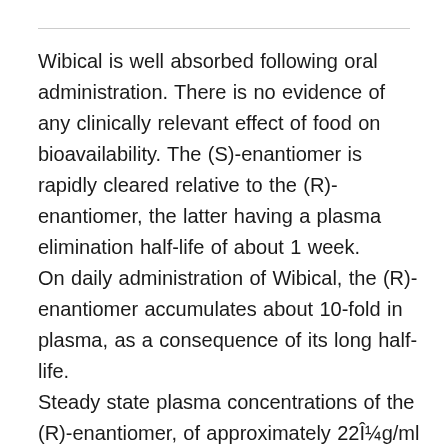Wibical is well absorbed following oral administration. There is no evidence of any clinically relevant effect of food on bioavailability. The (S)-enantiomer is rapidly cleared relative to the (R)-enantiomer, the latter having a plasma elimination half-life of about 1 week. On daily administration of Wibical, the (R)-enantiomer accumulates about 10-fold in plasma, as a consequence of its long half-life. Steady state plasma concentrations of the (R)-enantiomer, of approximately 22Î¼g/ml are observed during daily administration of Wibical 150mg. At steady state, the predominantly active (R)-enantiomer accounts for 99 % of the total